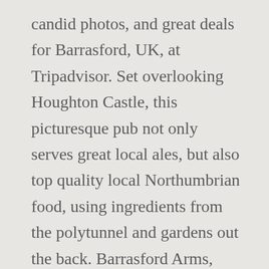candid photos, and great deals for Barrasford, UK, at Tripadvisor. Set overlooking Houghton Castle, this picturesque pub not only serves great local ales, but also top quality local Northumbrian food, using ingredients from the polytunnel and gardens out the back. Barrasford Arms, Barrasford: See 126 unbiased reviews of Barrasford Arms, rated 4.5 of 5 on Tripadvisor. - See 85 traveler reviews, 64 candid photos, and great deals for Barrasford Arms at Tripadvisor. Barrasford Arms: Amazing food - See 88 traveller reviews, 64 candid photos, and great deals for Barrasford Arms at Tripadvisor. Used this hotel as an overnight stay, prior to a big family reunion nearby, we